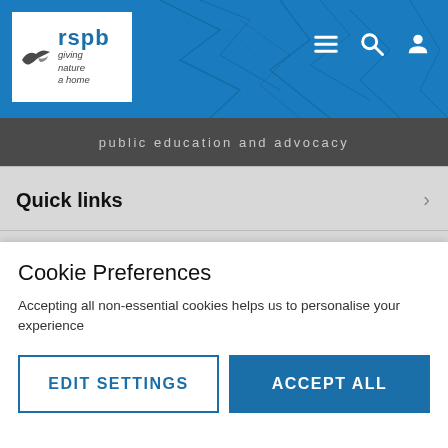[Figure (logo): RSPB logo with bird icon and tagline 'giving nature a home' on white background, within a blue header with cracked texture]
public education and advocacy
Quick links
Information for
Cookie Preferences
Accepting all non-essential cookies helps us to personalise your experience
EDIT SETTINGS
ACCEPT ALL